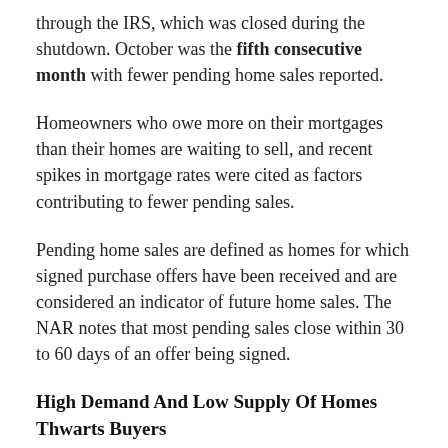through the IRS, which was closed during the shutdown. October was the fifth consecutive month with fewer pending home sales reported.
Homeowners who owe more on their mortgages than their homes are waiting to sell, and recent spikes in mortgage rates were cited as factors contributing to fewer pending sales.
Pending home sales are defined as homes for which signed purchase offers have been received and are considered an indicator of future home sales. The NAR notes that most pending sales close within 30 to 60 days of an offer being signed.
High Demand And Low Supply Of Homes Thwarts Buyers